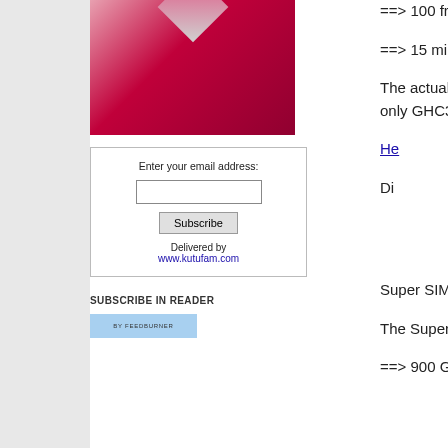[Figure (illustration): AliExpress advertisement with red background and diamond/gem graphic, showing AliExpress logo and Shop Now button]
Enter your email address:
[text input]
[Subscribe button]
Delivered by
www.kutufam.com
SUBSCRIBE IN READER
[Figure (logo): FeedBurner subscription logo button in light blue]
==> 100 free SMS
==> 15 minutes to ca
The actual monetary only GHC3
He
Di
Super SIMs cost
The Super package a
==> 900 Glo to Glo v